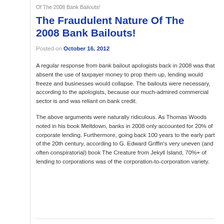Of The 2008 Bank Bailouts!
The Fraudulent Nature Of The 2008 Bank Bailouts!
Posted on October 16, 2012
A regular response from bank bailout apologists back in 2008 was that absent the use of taxpayer money to prop them up, lending would freeze and businesses would collapse. The bailouts were necessary, according to the apologists, because our much-admired commercial sector is and was reliant on bank credit.
The above arguments were naturally ridiculous. As Thomas Woods noted in his book Meltdown, banks in 2008 only accounted for 20% of corporate lending. Furthermore, going back 100 years to the early part of the 20th century, according to G. Edward Griffin's very uneven (and often conspiratorial) book The Creature from Jekyll Island, 70%+ of lending to corporations was of the corporation-to-corporation variety.